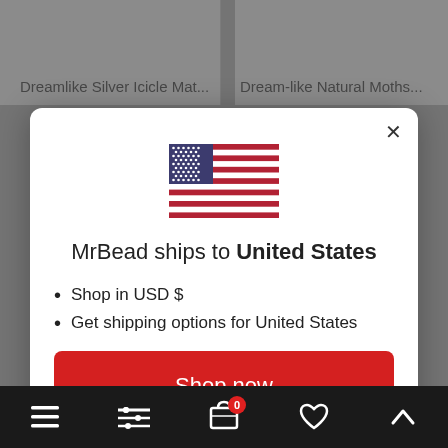[Figure (screenshot): Background showing two product cards with titles 'Dreamlike Silver Icicle Mat...' and 'Dream-like Natural Moths...' partially visible behind a modal overlay]
MrBead ships to United States
Shop in USD $
Get shipping options for United States
Shop now
Change shipping country